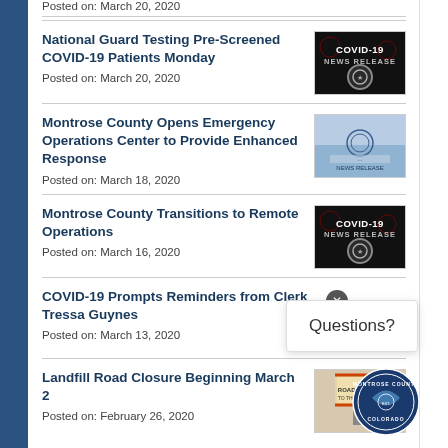Posted on: March 20, 2020
National Guard Testing Pre-Screened COVID-19 Patients Monday
Posted on: March 20, 2020
[Figure (photo): COVID-19 NEWS RELEASE dark badge with circular seal]
Montrose County Opens Emergency Operations Center to Provide Enhanced Response
Posted on: March 18, 2020
[Figure (photo): Montrose County building news release photo]
Montrose County Transitions to Remote Operations
Posted on: March 16, 2020
[Figure (photo): COVID-19 NEWS RELEASE dark badge with circular seal]
COVID-19 Prompts Reminders from Clerk Tressa Guynes
Posted on: March 13, 2020
[Figure (logo): Montrose County Colorado seal]
Landfill Road Closure Beginning March 2
Posted on: February 26, 2020
[Figure (photo): Road closed to thru traffic sign]